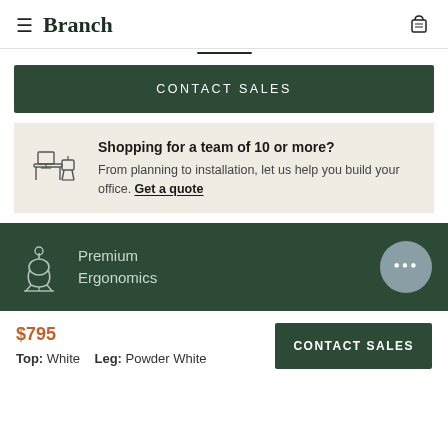Branch
CONTACT SALES
Shopping for a team of 10 or more? From planning to installation, let us help you build your office. Get a quote
[Figure (illustration): Office desk with monitor and chair icon on dark green background with text: Premium Ergonomics]
$795 Top: White  Leg: Powder White
CONTACT SALES